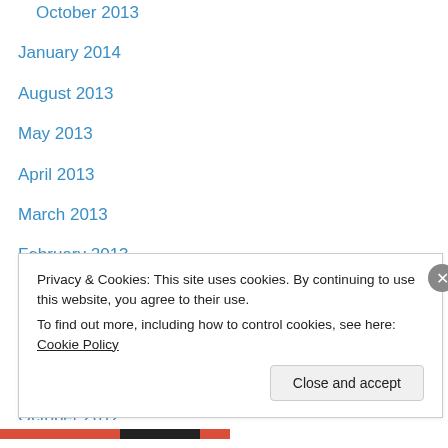October 2013
January 2014
August 2013
May 2013
April 2013
March 2013
February 2013
January 2013
December 2012
November 2012
October 2012
September 2012
August 2012
July 2012
Privacy & Cookies: This site uses cookies. By continuing to use this website, you agree to their use.
To find out more, including how to control cookies, see here: Cookie Policy
Close and accept